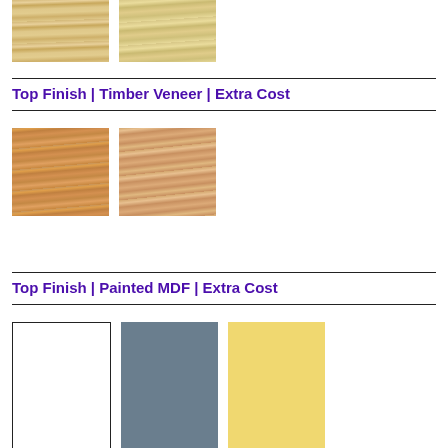[Figure (illustration): Two partial wood veneer swatches at top of page (light beige/tan wood grain) - continuation from previous page]
Top Finish | Timber Veneer | Extra Cost
[Figure (illustration): Two timber veneer swatches: oak/warm brown wood grain (left), lighter pink-tan oak veneer (right)]
Top Finish | Painted MDF | Extra Cost
[Figure (illustration): Three painted MDF swatches: white (left), slate grey (center), yellow (right) - partially visible at bottom of page]